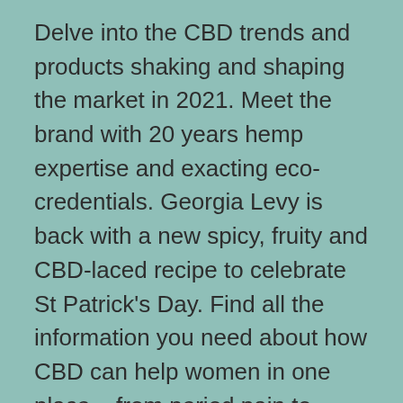Delve into the CBD trends and products shaking and shaping the market in 2021. Meet the brand with 20 years hemp expertise and exacting eco-credentials. Georgia Levy is back with a new spicy, fruity and CBD-laced recipe to celebrate St Patrick's Day. Find all the information you need about how CBD can help women in one place – from period pain to skincare and women-specific CBD brands. Can CBD support and enhance an active lifestyle? What are benefits of CBD for pain and muscle recovery?

Not only is the mint flavor strong enough to